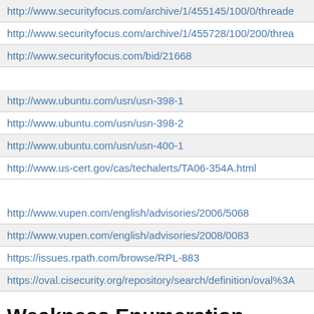| http://www.securityfocus.com/archive/1/455145/100/0/threade... |
| http://www.securityfocus.com/archive/1/455728/100/200/threa... |
| http://www.securityfocus.com/bid/21668 |
|  |
| http://www.ubuntu.com/usn/usn-398-1 |
| http://www.ubuntu.com/usn/usn-398-2 |
| http://www.ubuntu.com/usn/usn-400-1 |
| http://www.us-cert.gov/cas/techalerts/TA06-354A.html |
|  |
| http://www.vupen.com/english/advisories/2006/5068 |
| http://www.vupen.com/english/advisories/2008/0083 |
| https://issues.rpath.com/browse/RPL-883 |
| https://oval.cisecurity.org/repository/search/definition/oval%3A... |
Weakness Enumeration